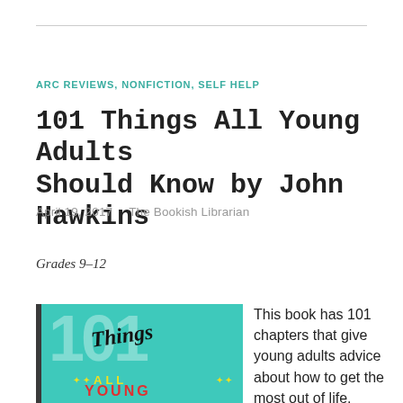ARC REVIEWS, NONFICTION, SELF HELP
101 Things All Young Adults Should Know by John Hawkins
April 19, 2017   The Bookish Librarian
Grades 9–12
[Figure (illustration): Book cover of '101 Things All Young Adults Should Know' — teal/turquoise background with large semi-transparent '101' numerals, 'Things' in script lettering, 'ALL YOUNG' in bold colored text]
This book has 101 chapters that give young adults advice about how to get the most out of life. Hawkins uses his